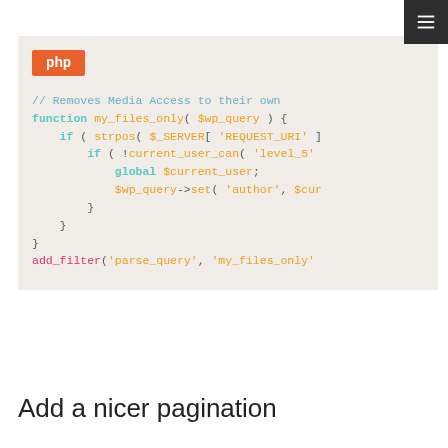[Figure (screenshot): PHP code block with syntax highlighting on a light beige background. Shows a function my_files_only with add_filter call. Language badge 'php' in orange-red at top.]
Add a nicer pagination